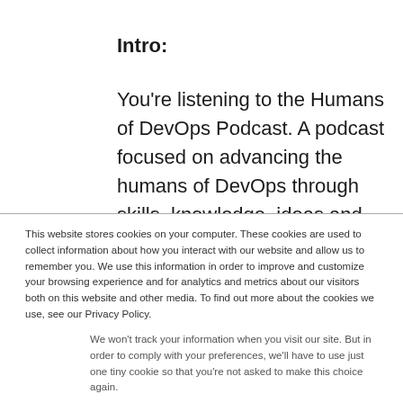Intro:
You're listening to the Humans of DevOps Podcast. A podcast focused on advancing the humans of DevOps through skills, knowledge, ideas and learning, or the SKIL
This website stores cookies on your computer. These cookies are used to collect information about how you interact with our website and allow us to remember you. We use this information in order to improve and customize your browsing experience and for analytics and metrics about our visitors both on this website and other media. To find out more about the cookies we use, see our Privacy Policy.
We won't track your information when you visit our site. But in order to comply with your preferences, we'll have to use just one tiny cookie so that you're not asked to make this choice again.
Accept
Decline